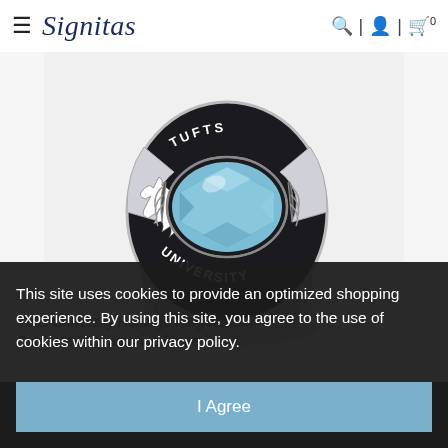Signitas
[Figure (photo): Tufts University class ring with silver band, black enamel, and a light blue aquamarine stone center, engraved with TUFTS UNIVERSITY text around the bezel and eagle motif on the side, with a reflection visible below the ring on a white background.]
Tufts University Heritage Ring with Simulated Aquamarine Stone
This site uses cookies to provide an optimized shopping experience. By using this site, you agree to the use of cookies within our privacy policy.
I Agree